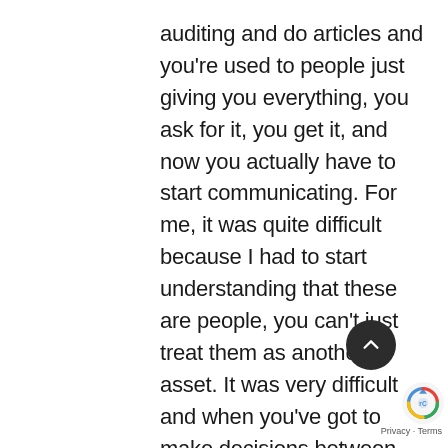auditing and do articles and you're used to people just giving you everything, you ask for it, you get it, and now you actually have to start communicating. For me, it was quite difficult because I had to start understanding that these are people, you can't just treat them as another asset. It was very difficult and when you've got to make decisions between single mothers with kids and somebody else who's the better worker, you have to make the right decision for the business, no matter how hard it is. You have to make the person feel that even though you're telling them to go, you show empathy, not that it helps them. That was very difficult for me.